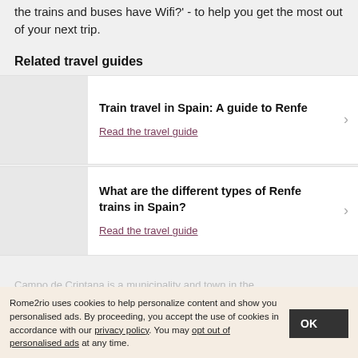the trains and buses have Wifi?' - to help you get the most out of your next trip.
Related travel guides
Train travel in Spain: A guide to Renfe
Read the travel guide
What are the different types of Renfe trains in Spain?
Read the travel guide
Rome2rio uses cookies to help personalize content and show you personalised ads. By proceeding, you accept the use of cookies in accordance with our privacy policy. You may opt out of personalised ads at any time.
Campo de Criptana is a municipality and town in the